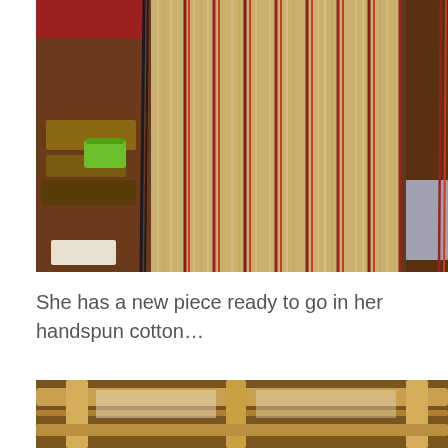[Figure (photo): Close-up of vertical warp threads on a loom — tan/beige natural fibers with red accent threads running vertically, workshop items visible in background including a green container and red furniture.]
She has a new piece ready to go in her handspun cotton…
[Figure (photo): Partial view of a wooden loom frame with light-colored wood beams and rollers, workshop setting.]